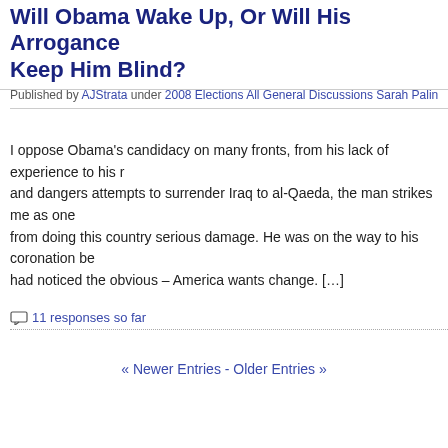Will Obama Wake Up, Or Will His Arrogance Keep Him Blind?
Published by AJStrata under 2008 Elections All General Discussions Sarah Palin
I oppose Obama's candidacy on many fronts, from his lack of experience to his reckless and dangers attempts to surrender Iraq to al-Qaeda, the man strikes me as one who would not be held from doing this country serious damage. He was on the way to his coronation before someone had noticed the obvious – America wants change. […]
11 responses so far
« Newer Entries - Older Entries »